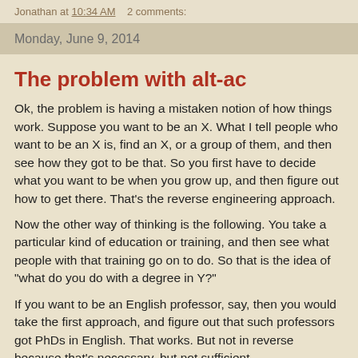Jonathan at 10:34 AM   2 comments:
Monday, June 9, 2014
The problem with alt-ac
Ok, the problem is having a mistaken notion of how things work. Suppose you want to be an X. What I tell people who want to be an X is, find an X, or a group of them, and then see how they got to be that. So you first have to decide what you want to be when you grow up, and then figure out how to get there. That's the reverse engineering approach.
Now the other way of thinking is the following. You take a particular kind of education or training, and then see what people with that training go on to do. So that is the idea of "what do you do with a degree in Y?"
If you want to be an English professor, say, then you would take the first approach, and figure out that such professors got PhDs in English. That works. But not in reverse because that's necessary, but not sufficient.